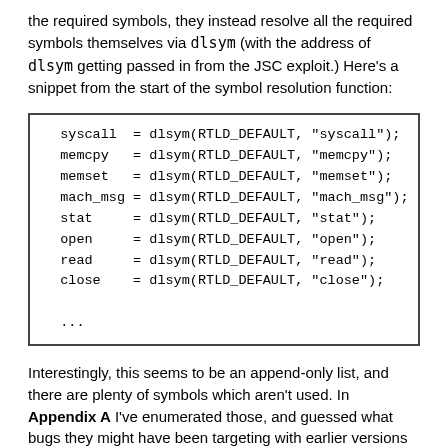the required symbols, they instead resolve all the required symbols themselves via dlsym (with the address of dlsym getting passed in from the JSC exploit.) Here's a snippet from the start of the symbol resolution function:
[Figure (other): Code block showing symbol resolution via dlsym: syscall = dlsym(RTLD_DEFAULT, "syscall"); memcpy = dlsym(RTLD_DEFAULT, "memcpy"); memset = dlsym(RTLD_DEFAULT, "memset"); mach_msg = dlsym(RTLD_DEFAULT, "mach_msg"); stat = dlsym(RTLD_DEFAULT, "stat"); open = dlsym(RTLD_DEFAULT, "open"); read = dlsym(RTLD_DEFAULT, "read"); close = dlsym(RTLD_DEFAULT, "close"); ...]
Interestingly, this seems to be an append-only list, and there are plenty of symbols which aren't used. In Appendix A I've enumerated those, and guessed what bugs they might have been targeting with earlier versions of this framework.